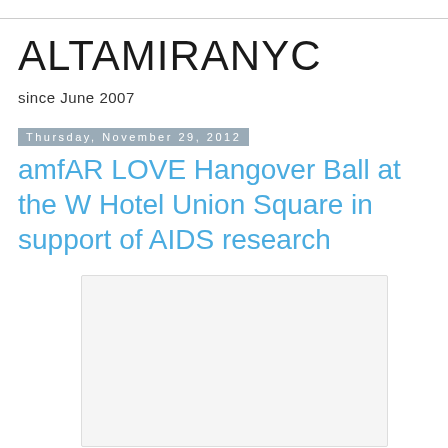ALTAMIRANYC
since June 2007
Thursday, November 29, 2012
amfAR LOVE Hangover Ball at the W Hotel Union Square in support of AIDS research
[Figure (photo): Blank/loading image placeholder with light gray background and border]